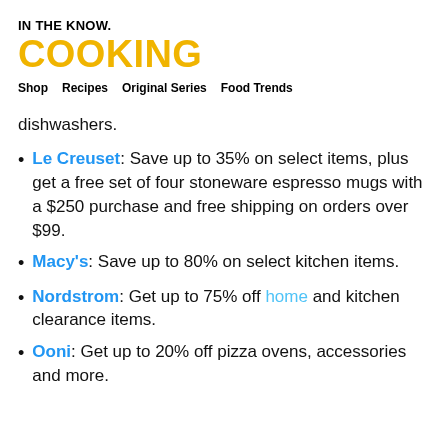IN THE KNOW. COOKING
Shop   Recipes   Original Series   Food Trends
dishwashers.
Le Creuset: Save up to 35% on select items, plus get a free set of four stoneware espresso mugs with a $250 purchase and free shipping on orders over $99.
Macy's: Save up to 80% on select kitchen items.
Nordstrom: Get up to 75% off home and kitchen clearance items.
Ooni: Get up to 20% off pizza ovens, accessories and more.